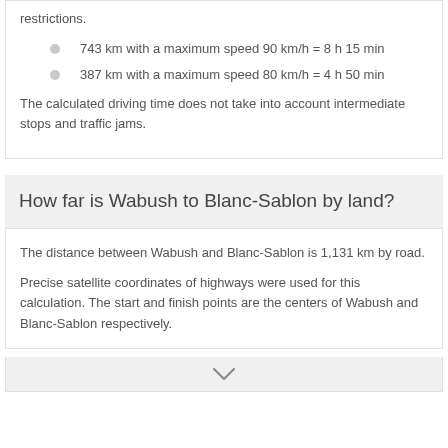743 km with a maximum speed 90 km/h = 8 h 15 min
387 km with a maximum speed 80 km/h = 4 h 50 min
The calculated driving time does not take into account intermediate stops and traffic jams.
How far is Wabush to Blanc-Sablon by land?
The distance between Wabush and Blanc-Sablon is 1,131 km by road.
Precise satellite coordinates of highways were used for this calculation. The start and finish points are the centers of Wabush and Blanc-Sablon respectively.